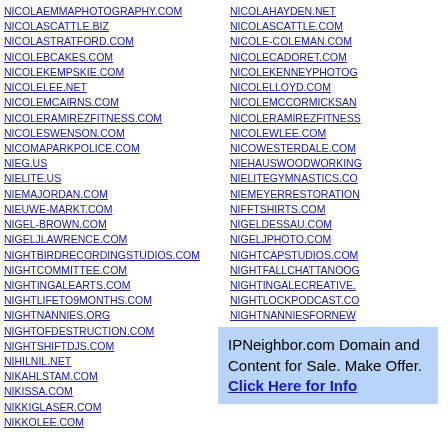NICOLAEMMAPHOTOGRAPHY.COM
NICOLASCATTLE.BIZ
NICOLASTRATFORD.COM
NICOLEBCAKES.COM
NICOLEKEMPSKIE.COM
NICOLELEE.NET
NICOLEMCAIRNS.COM
NICOLERAMIREZFITNESS.COM
NICOLESWENSON.COM
NICOMAPARKPOLICE.COM
NIEG.US
NIELITE.US
NIEMAJORDAN.COM
NIEUWE-MARKT.COM
NIGEL-BROWN.COM
NIGELJLAWRENCE.COM
NIGHTBIRDRECORDINGSTUDIOS.COM
NIGHTCOMMITTEE.COM
NIGHTINGALEARTS.COM
NIGHTLIFETO9MONTHS.COM
NIGHTNANNIES.ORG
NIGHTOFDESTRUCTION.COM
NIGHTSHIFTDJS.COM
NIHILNIL.NET
NIKAHLSTAM.COM
NIKISSA.COM
NIKKIGLASER.COM
NIKKOLEE.COM
NICOLAHAYDEN.NET
NICOLASCATTLE.COM
NICOLE-COLEMAN.COM
NICOLECADORET.COM
NICOLEKENNEYPHOTOG...
NICOLELLOYD.COM
NICOLEMCCORMICKSAN...
NICOLERAMIREZFITNESS...
NICOLEWLEE.COM
NICOWESTERDALE.COM
NIEHAUSWOODWORKING...
NIELITEGYMNASTICS.CO...
NIEMEYERRESTORATION...
NIFFTSHIRTS.COM
NIGELDESSAU.COM
NIGELJPHOTO.COM
NIGHTCAPSTUDIOS.COM...
NIGHTFALLCHATTANOOG...
NIGHTINGALECREATIVE....
NIGHTLOCKPODCAST.CO...
NIGHTNANNIESFORNEW...
NIGHTOWLCREATIVITY.C...
NIHILNIL.COM
NIHILNIL.ORG
IPNeighbor.com Domain and Content for Sale. Make Offer. Click Here for Info